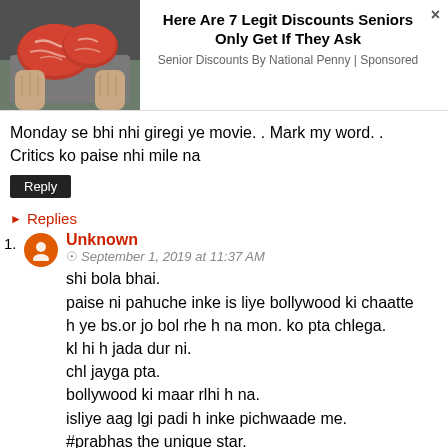[Figure (photo): Advertisement banner showing hands holding raw meat (marbled steak/beef cuts) with text: Here Are 7 Legit Discounts Seniors Only Get If They Ask. Senior Discounts By National Penny | Sponsored]
Monday se bhi nhi giregi ye movie. . Mark my word. . Critics ko paise nhi mile na
Reply
▸ Replies
1. Unknown
© September 1, 2019 at 11:37 AM
shi bola bhai.
paise ni pahuche inke is liye bollywood ki chaatte h ye bs.or jo bol rhe h na mon. ko pta chlega.
kl hi h jada dur ni.
chl jayga pta.
bollywood ki maar rlhi h na.
isliye aag lgi padi h inke pichwaade me.
#prabhas the unique star.
#saaho blockbuster.